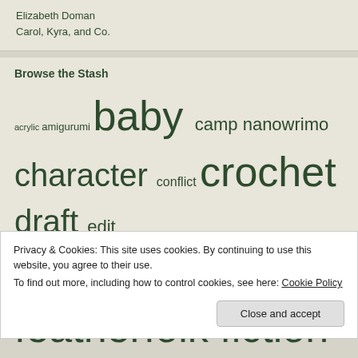Elizabeth Doman
Carol, Kyra, and Co.
Browse the Stash
acrylic amigurumi baby camp nanowrimo character conflict crochet draft edit fantasy featherfolk fiction flash fiction garb knit linen manuscript medieval nanowrimo plot project Shannon Hale tablet weave teen tunisian crochet
Privacy & Cookies: This site uses cookies. By continuing to use this website, you agree to their use.
To find out more, including how to control cookies, see here: Cookie Policy